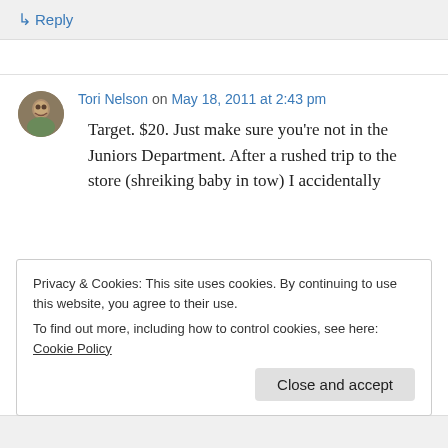↳ Reply
Tori Nelson on May 18, 2011 at 2:43 pm
Target. $20. Just make sure you're not in the Juniors Department. After a rushed trip to the store (shreiking baby in tow) I accidentally
Privacy & Cookies: This site uses cookies. By continuing to use this website, you agree to their use.
To find out more, including how to control cookies, see here: Cookie Policy
Close and accept